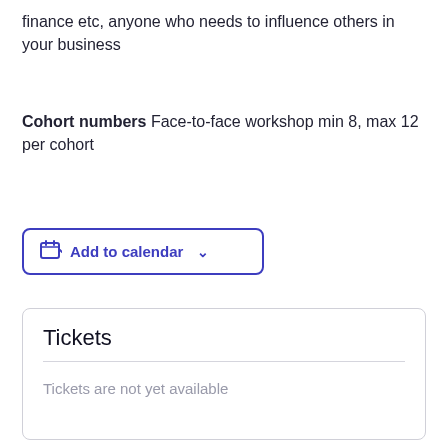finance etc, anyone who needs to influence others in your business
Cohort numbers Face-to-face workshop min 8, max 12 per cohort
[Figure (other): Add to calendar button with calendar icon and dropdown chevron]
Tickets
Tickets are not yet available